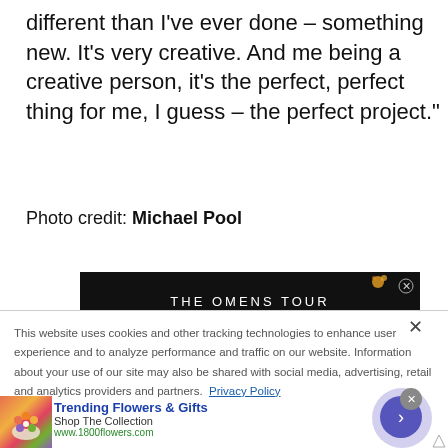different than I've ever done – something new. It's very creative. And me being a creative person, it's the perfect, perfect thing for me, I guess – the perfect project."
Photo credit: Michael Pool
[Figure (screenshot): Advertisement banner for 'The Omens Tour' with dark space-themed background and orange sparkle graphics, with close X button]
This website uses cookies and other tracking technologies to enhance user experience and to analyze performance and traffic on our website. Information about your use of our site may also be shared with social media, advertising, retail and analytics providers and partners. Privacy Policy
[Figure (screenshot): Advertisement for 1800flowers.com showing flowers image, title 'Trending Flowers & Gifts', 'Shop The Collection', 'www.1800flowers.com', navigation arrow button]